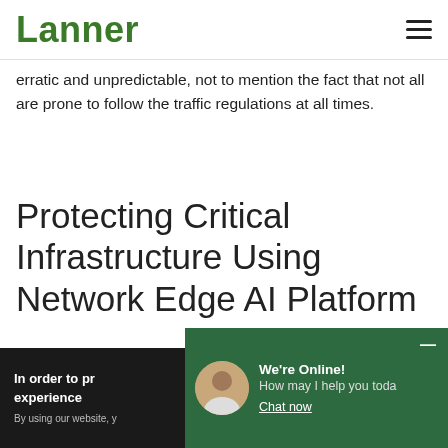Lanner
erratic and unpredictable, not to mention the fact that not all are prone to follow the traffic regulations at all times.
Protecting Critical Infrastructure Using Network Edge AI Platform
In order to provide you with the best online experience... By using our website, y...
We're Online! How may I help you toda... Chat now